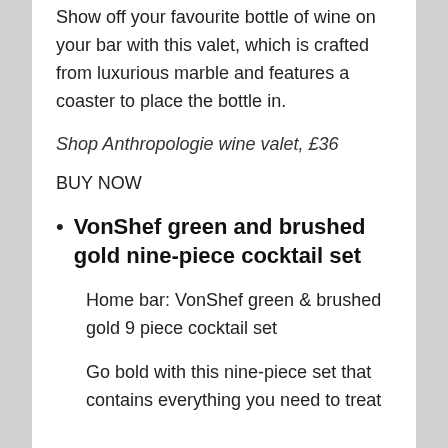Show off your favourite bottle of wine on your bar with this valet, which is crafted from luxurious marble and features a coaster to place the bottle in.
Shop Anthropologie wine valet, £36
BUY NOW
VonShef green and brushed gold nine-piece cocktail set
Home bar: VonShef green & brushed gold 9 piece cocktail set
Go bold with this nine-piece set that contains everything you need to treat